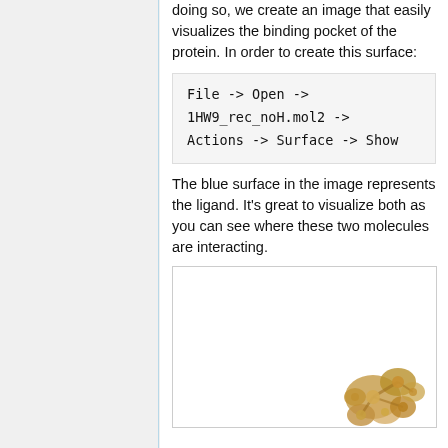doing so, we create an image that easily visualizes the binding pocket of the protein. In order to create this surface:
File -> Open -> 1HW9_rec_noH.mol2 -> Actions -> Surface -> Show
The blue surface in the image represents the ligand. It's great to visualize both as you can see where these two molecules are interacting.
[Figure (photo): Molecular visualization image showing protein structure with ligand, rendered in a 3D visualization tool. A golden/tan colored molecular structure is visible in the lower right corner.]